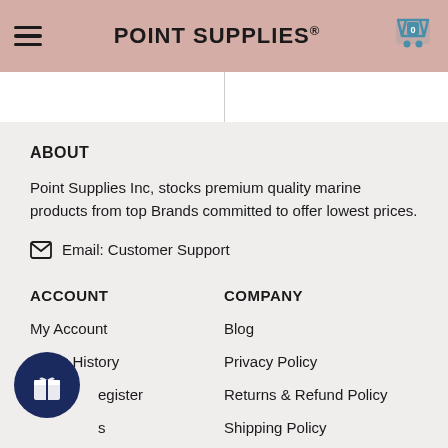POINT SUPPLIES®
ABOUT
Point Supplies Inc, stocks premium quality marine products from top Brands committed to offer lowest prices.
✉ Email: Customer Support
ACCOUNT
My Account
Order History
Login/Register
Wish lists
COMPANY
Blog
Privacy Policy
Returns & Refund Policy
Shipping Policy
Terms of Use